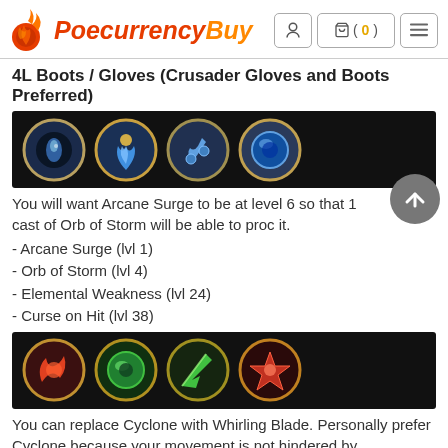PoecurrencyBuy
4L Boots / Gloves (Crusader Gloves and Boots Preferred)
[Figure (illustration): Row of 4 gem icons on dark background: blue/gold eye gem, blue fire gem, blue/gold musical gem, blue/gold orb gem]
You will want Arcane Surge to be at level 6 so that 1 cast of Orb of Storm will be able to proc it.
- Arcane Surge (lvl 1)
- Orb of Storm (lvl 4)
- Elemental Weakness (lvl 24)
- Curse on Hit (lvl 38)
[Figure (illustration): Row of 4 gem icons on dark background: red/gold whirling gem, green/gold cyclone gem, green/gold blade gem, red/gold star gem]
You can replace Cyclone with Whirling Blade. Personally prefer Cyclone because your movement is not hindered by surrounding monsters.
- Rallying Cry (lvl 10)